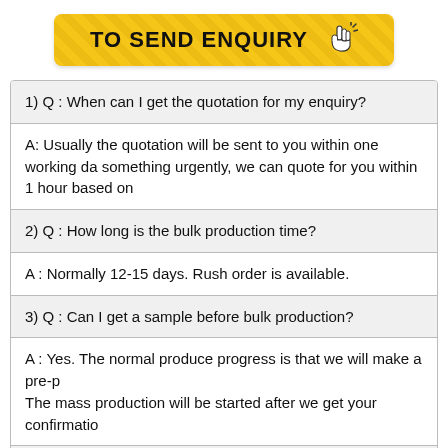[Figure (other): Yellow button with text TO SEND ENQUIRY and cursor/hand icon]
1) Q : When can I get the quotation for my enquiry?
A: Usually the quotation will be sent to you within one working day. If you need something urgently, we can quote for you within 1 hour based on your request.
2) Q : How long is the bulk production time?
A : Normally 12-15 days. Rush order is available.
3) Q : Can I get a sample before bulk production?
A : Yes. The normal produce progress is that we will make a pre-production sample first. The mass production will be started after we get your confirmation.
4) Q: How long can I got this sample?
A : After receiving the sample charge and all the material & design file are confirmed. Express delivery usually needs around 3-5 day.